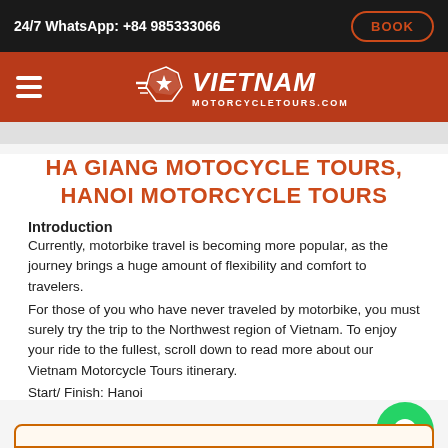24/7 WhatsApp: +84 985333066
[Figure (logo): Vietnam Motorcycletours.com logo with helmet icon on red/orange navigation bar]
HA GIANG MOTOCYCLE TOURS, HANOI MOTORCYCLE TOURS
Introduction
Currently, motorbike travel is becoming more popular, as the journey brings a huge amount of flexibility and comfort to travelers.
For those of you who have never traveled by motorbike, you must surely try the trip to the Northwest region of Vietnam. To enjoy your ride to the fullest, scroll down to read more about our Vietnam Motorcycle Tours itinerary.
Start/ Finish: Hanoi